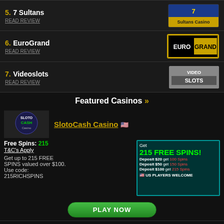5. 7 Sultans - READ REVIEW
6. EuroGrand - READ REVIEW
7. Videoslots - READ REVIEW
Featured Casinos »
SlotoCash Casino 🇺🇸
Free Spins: 215
T&C's Apply
Get up to 215 FREE SPINS valued over $100. Use code: 215RICHSPINS
[Figure (other): SlotoCash Casino promotional banner: Get 215 FREE SPINS - Deposit $20 get 100 Spins, Deposit $50 get 150 Spins, Deposit $100 get 215 Spins. US Players Welcome.]
PLAY NOW
Videoslots Casino
Join Bonus: €200
T&C's Apply